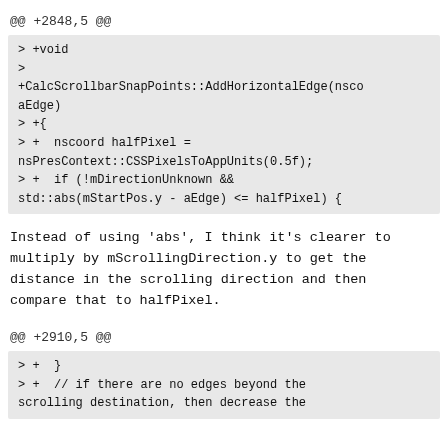@@ +2848,5 @@
[Figure (screenshot): Code diff block showing: > +void, >, +CalcScrollbarSnapPoints::AddHorizontalEdge(nsco aEdge), > +{, > +  nscoord halfPixel = nsPresContext::CSSPixelsToAppUnits(0.5f);, > +  if (!mDirectionUnknown && std::abs(mStartPos.y - aEdge) <= halfPixel) {]
Instead of using 'abs', I think it's clearer to multiply by mScrollingDirection.y to get the distance in the scrolling direction and then compare that to halfPixel.
@@ +2910,5 @@
[Figure (screenshot): Code diff block showing: > +  }, > +  // if there are no edges beyond the scrolling destination, then decrease the]